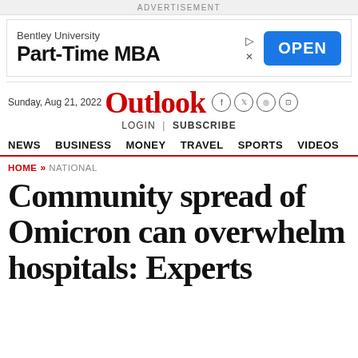ADVERTISEMENT
[Figure (other): Bentley University Part-Time MBA advertisement banner with OPEN button]
Sunday, Aug 21, 2022 | Outlook | LOGIN | SUBSCRIBE | NEWS | BUSINESS | MONEY | TRAVEL | SPORTS | VIDEOS
HOME » NATIONAL
Community spread of Omicron can overwhelm hospitals: Experts